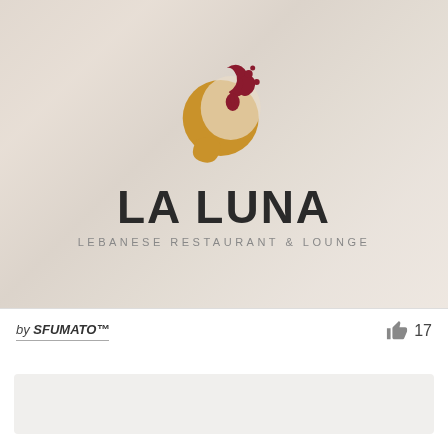[Figure (logo): La Luna Lebanese Restaurant & Lounge logo with a golden crescent moon and dark red wine splash/leaf motif, on a faded food background photo]
by SFUMATO™
17